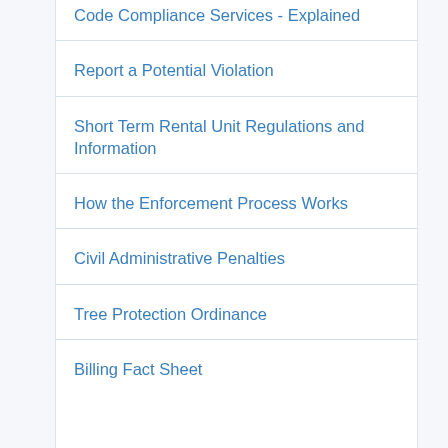Code Compliance Services - Explained
Report a Potential Violation
Short Term Rental Unit Regulations and Information
How the Enforcement Process Works
Civil Administrative Penalties
Tree Protection Ordinance
Billing Fact Sheet